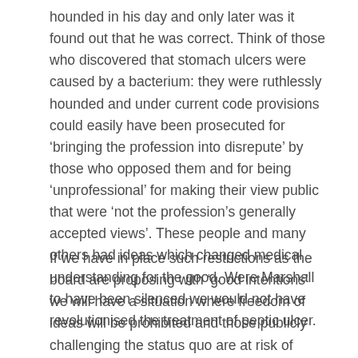hounded in his day and only later was it found out that he was correct. Think of those who discovered that stomach ulcers were caused by a bacterium: they were ruthlessly hounded and under current code provisions could easily have been prosecuted for 'bringing the profession into disrepute' by those who opposed them and for being 'unprofessional' for making their view public that were 'not the profession's generally accepted views'. These people and many others had ideas which changed medical understanding for the good. Were Marshall to have been silenced we would not have revolutionised the treatment of peptic ulcer.
If we have in place such restrictions as the board are proposing with 'good intentions' we will have a situation where freedom of ideas will be prohibited and those publicly challenging the status quo are at risk of